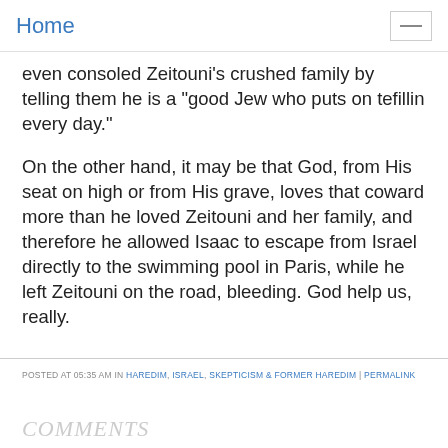Home
even consoled Zeitouni's crushed family by telling them he is a "good Jew who puts on tefillin every day."
On the other hand, it may be that God, from His seat on high or from His grave, loves that coward more than he loved Zeitouni and her family, and therefore he allowed Isaac to escape from Israel directly to the swimming pool in Paris, while he left Zeitouni on the road, bleeding. God help us, really.
POSTED AT 05:35 AM IN HAREDIM, ISRAEL, SKEPTICISM & FORMER HAREDIM | PERMALINK
COMMENTS